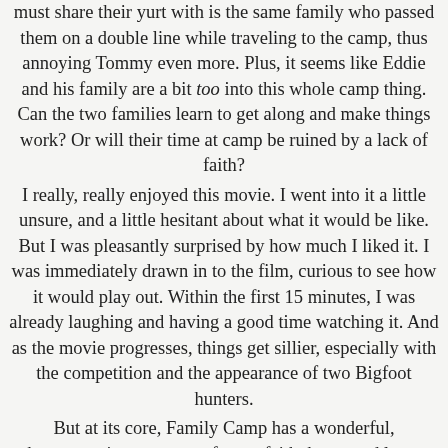must share their yurt with is the same family who passed them on a double line while traveling to the camp, thus annoying Tommy even more. Plus, it seems like Eddie and his family are a bit too into this whole camp thing. Can the two families learn to get along and make things work? Or will their time at camp be ruined by a lack of faith? I really, really enjoyed this movie. I went into it a little unsure, and a little hesitant about what it would be like. But I was pleasantly surprised by how much I liked it. I was immediately drawn in to the film, curious to see how it would play out. Within the first 15 minutes, I was already laughing and having a good time watching it. And as the movie progresses, things get sillier, especially with the competition and the appearance of two Bigfoot hunters. But at its core, Family Camp has a wonderful, heartwarming message of trust, faith, hope, and love. Sometimes it's a good reminder to put down the phones, take some time away from work, and just connect as a family again. Our world is constantly in a state of "go-go-go", always needing something more, but it's always good to hit the brakes and say, "Wait a moment. Do I really need to be constantly moving? Constantly attached to technology. Constantly